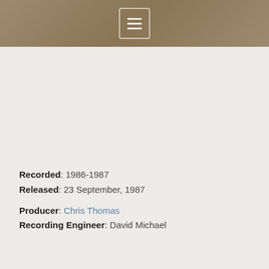≡
Recorded: 1986-1987
Released: 23 September, 1987
Producer: Chris Thomas
Recording Engineer: David Michael...